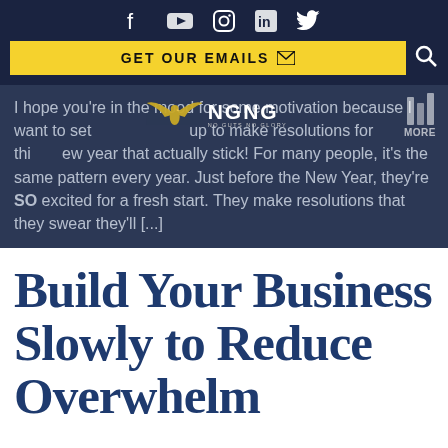Social media icons: Facebook, YouTube, Instagram, LinkedIn, Twitter
GET OUR EMAILS
I hope you're in the mood for some motivation because I want to set you up to make resolutions for this new year that actually stick! For many people, it's the same pattern every year. Just before the New Year, they're SO excited for a fresh start. They make resolutions that they swear they'll [...]
Build Your Business Slowly to Reduce Overwhelm